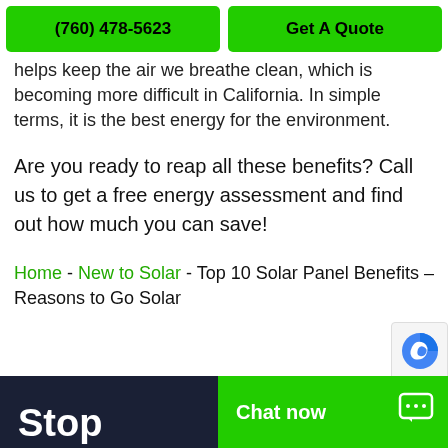(760) 478-5623 | Get A Quote
helps keep the air we breathe clean, which is becoming more difficult in California. In simple terms, it is the best energy for the environment.
Are you ready to reap all these benefits? Call us to get a free energy assessment and find out how much you can save!
Home - New to Solar - Top 10 Solar Panel Benefits – Reasons to Go Solar
Stop